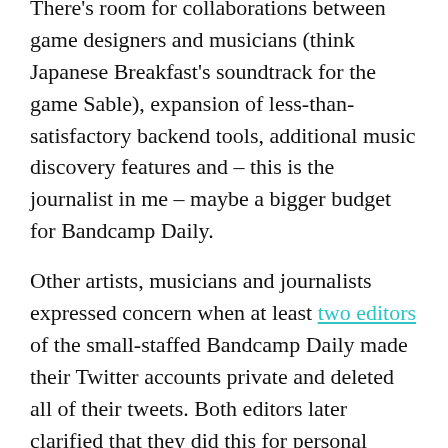There's room for collaborations between game designers and musicians (think Japanese Breakfast's soundtrack for the game Sable), expansion of less-than-satisfactory backend tools, additional music discovery features and – this is the journalist in me – maybe a bigger budget for Bandcamp Daily.
Other artists, musicians and journalists expressed concern when at least two editors of the small-staffed Bandcamp Daily made their Twitter accounts private and deleted all of their tweets. Both editors later clarified that they did this for personal safety amid the big news of the acquisition, with editorial director J. Edward Keyes tweeting that nothing is changing about the Daily.